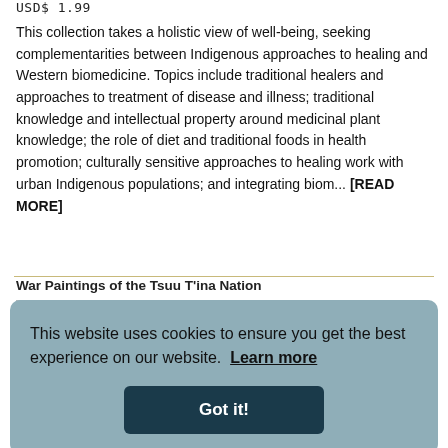USD$ 1.99
This collection takes a holistic view of well-being, seeking complementarities between Indigenous approaches to healing and Western biomedicine. Topics include traditional healers and approaches to treatment of disease and illness; traditional knowledge and intellectual property around medicinal plant knowledge; the role of diet and traditional foods in health promotion; culturally sensitive approaches to healing work with urban Indigenous populations; and integrating biom... [READ MORE]
War Paintings of the Tsuu T'ina Nation
[Figure (photo): Thumbnail image of a painting with warm reddish-brown tones]
written records. The majority of their paintings
This website uses cookies to ensure you get the best experience on our website.  Learn more

Got it!